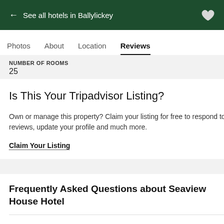← See all hotels in Ballylickey
Photos  About  Location  Reviews
NUMBER OF ROOMS
25
Is This Your Tripadvisor Listing?
Own or manage this property? Claim your listing for free to respond to reviews, update your profile and much more.
Claim Your Listing
Frequently Asked Questions about Seaview House Hotel
Which popular attractions are close to Seaview House Hotel?